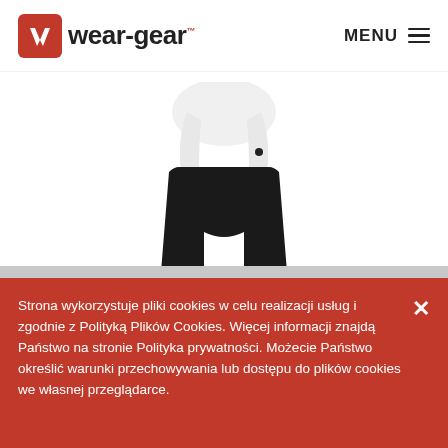[Figure (logo): wear-gear logo: red rounded square with white W icon, followed by 'wear-gear' text with trademark symbol]
MENU ≡
[Figure (photo): Molteni Green Short Bibshorts product photo: black cycling bib shorts with white bib straps and green gradient trim at the bottom of the legs]
MOLTENI GREEN SHORT BIBSHORTS
60,16 €
Strona wykorzystuje pliki cookies w celu realizacji usług i zgodnie z Polityką Plików Cookies. Więcej informacji znajdą Państwo na stronie Polityka prywatności. Możecie Państwo określić warunki przechowywania lub dostępu do plików cookies we własnej przeglądarce.